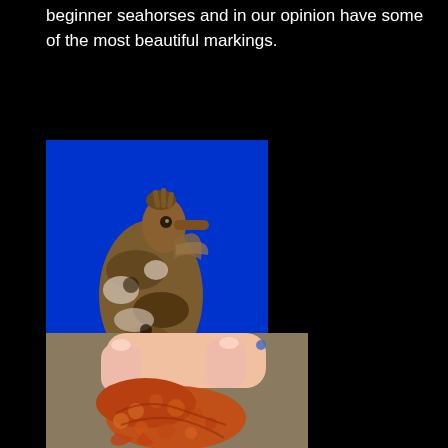beginner seahorses and in our opinion have some of the most beautiful markings.
[Figure (photo): Close-up photograph of a seahorse against a bright blue background, showing detailed mottled brown and white markings with textured skin, perched on white coral.]
[Figure (photo): Close-up photograph of a reddish-orange seahorse being held by a human hand, showing detailed bumpy textured skin.]